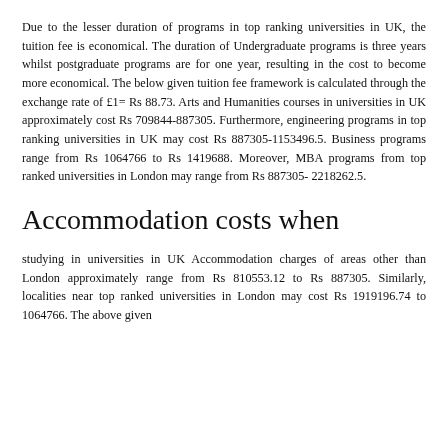Due to the lesser duration of programs in top ranking universities in UK, the tuition fee is economical. The duration of Undergraduate programs is three years whilst postgraduate programs are for one year, resulting in the cost to become more economical. The below given tuition fee framework is calculated through the exchange rate of £1= Rs 88.73. Arts and Humanities courses in universities in UK approximately cost Rs 709844-887305. Furthermore, engineering programs in top ranking universities in UK may cost Rs 887305-1153496.5. Business programs range from Rs 1064766 to Rs 1419688. Moreover, MBA programs from top ranked universities in London may range from Rs 887305- 2218262.5.
Accommodation costs when
studying in universities in UK Accommodation charges of areas other than London approximately range from Rs 810553.12 to Rs 887305. Similarly, localities near top ranked universities in London may cost Rs 1919196.74 to 1064766. The above given